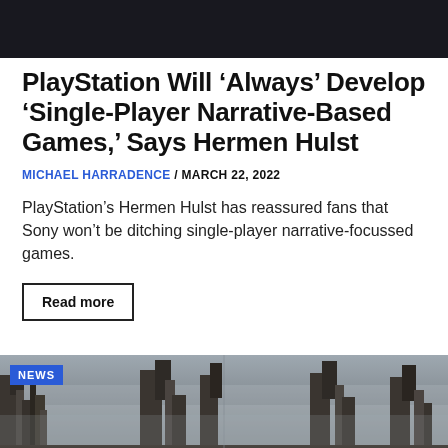[Figure (photo): Dark banner image at top of article page]
PlayStation Will ‘Always’ Develop ‘Single-Player Narrative-Based Games,’ Says Hermen Hulst
MICHAEL HARRADENCE / MARCH 22, 2022
PlayStation’s Hermen Hulst has reassured fans that Sony won’t be ditching single-player narrative-focussed games.
Read more
[Figure (photo): Dark atmospheric ruins scene with NEWS badge overlay]